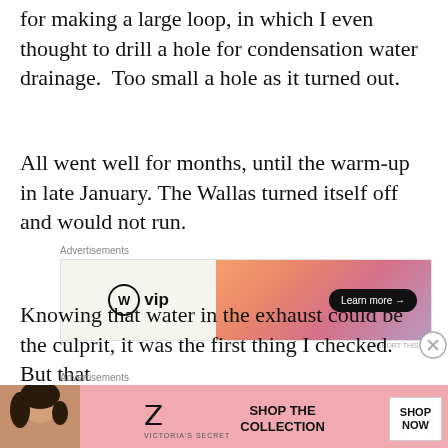for making a large loop, in which I even thought to drill a hole for condensation water drainage.  Too small a hole as it turned out.
All went well for months, until the warm-up in late January. The Wallas turned itself off and would not run.
[Figure (other): WordPress VIP advertisement banner with logo on white left half and orange-pink gradient right half with 'Learn more →' button]
Knowing that water in the exhaust could be the culprit, it was the first thing I checked. But that
[Figure (other): Victoria's Secret advertisement banner with model photo, VS logo, 'SHOP THE COLLECTION' text, and 'SHOP NOW' button]